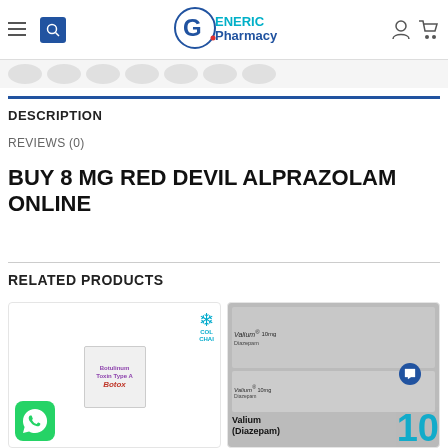[Figure (screenshot): Generic Pharmacy website header with hamburger menu, search icon, logo, user and cart icons]
[Figure (illustration): Row of pill/capsule icons in gray]
DESCRIPTION
REVIEWS (0)
BUY 8 MG RED DEVIL ALPRAZOLAM ONLINE
RELATED PRODUCTS
[Figure (photo): Botulinum Toxin Type A Botox product box with WhatsApp icon and cold chain snowflake icon]
[Figure (photo): Valium (Diazepam) blister pack photo with blue number 10 visible]